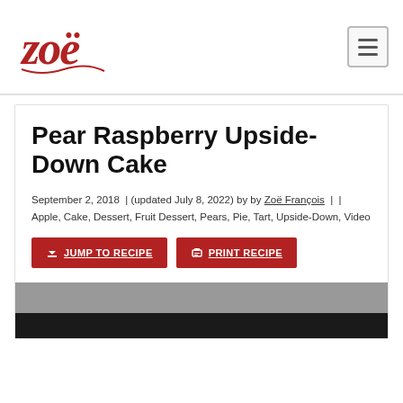zoë (logo) | hamburger menu button
Pear Raspberry Upside-Down Cake
September 2, 2018 | (updated July 8, 2022) by by Zoë François | | Apple, Cake, Dessert, Fruit Dessert, Pears, Pie, Tart, Upside-Down, Video
JUMP TO RECIPE | PRINT RECIPE
[Figure (photo): Partial view of a pear raspberry upside-down cake, image cut off at bottom of page]